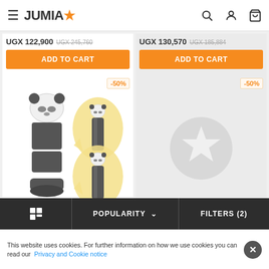JUMIA
UGX 122,900  UGX 245,760
UGX 130,570  UGX 185,884
ADD TO CART
ADD TO CART
-50%
-50%
[Figure (photo): Panda-themed thermos/water bottle product shown disassembled and assembled in two views with yellow speech bubble backgrounds]
[Figure (illustration): Gray placeholder with white star icon in circle]
POPULARITY  ∨
FILTERS (2)
This website uses cookies. For further information on how we use cookies you can read our Privacy and Cookie notice